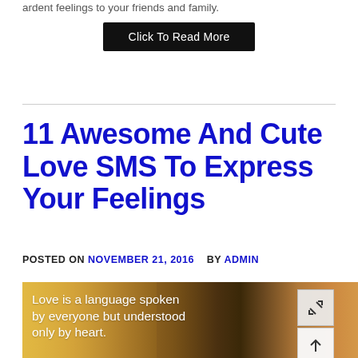ardent feelings to your friends and family.
Click To Read More
11 Awesome And Cute Love SMS To Express Your Feelings
POSTED ON NOVEMBER 21, 2016   BY ADMIN
[Figure (photo): A couple leaning close together outdoors with warm sunset lighting. Text overlay reads: 'Love is a language spoken by everyone but understood only by heart.']